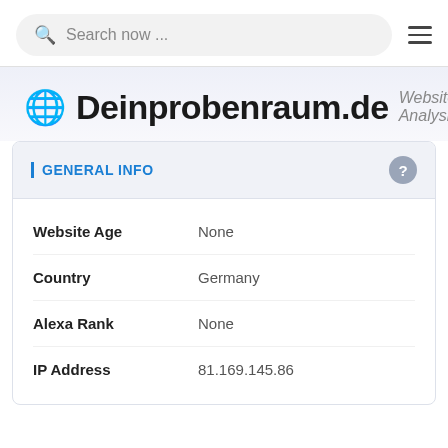[Figure (screenshot): Search bar with magnifying glass icon and placeholder text 'Search now ...' on a light gray rounded background, with a hamburger menu icon to the right]
Deinprobenraum.de Website Analysis
GENERAL INFO
| Field | Value |
| --- | --- |
| Website Age | None |
| Country | Germany |
| Alexa Rank | None |
| IP Address | 81.169.145.86 |